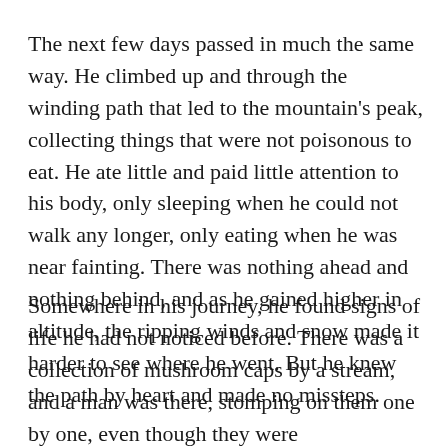The next few days passed in much the same way. He climbed up and through the winding path that led to the mountain's peak, collecting things that were not poisonous to eat. He ate little and paid little attention to his body, only sleeping when he could not walk any longer, only eating when he was near fainting. There was nothing ahead and nothing behind, and as he gained higher in altitude, the ripping winds and snow made it harder to see where he went. But he knew the path by heart and made no missteps.
Somewhere in his journey, he found signs of life he had not noticed before. There was a collection of mushroom caps by a stream, and a man was there, stomping on them one by one, even though they were